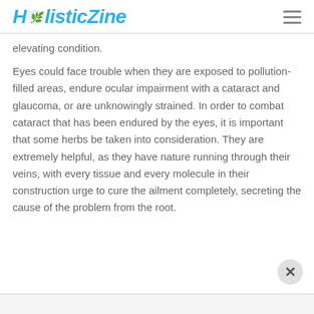HolisticZine
elevating condition.
Eyes could face trouble when they are exposed to pollution-filled areas, endure ocular impairment with a cataract and glaucoma, or are unknowingly strained. In order to combat cataract that has been endured by the eyes, it is important that some herbs be taken into consideration. They are extremely helpful, as they have nature running through their veins, with every tissue and every molecule in their construction urge to cure the ailment completely, secreting the cause of the problem from the root.